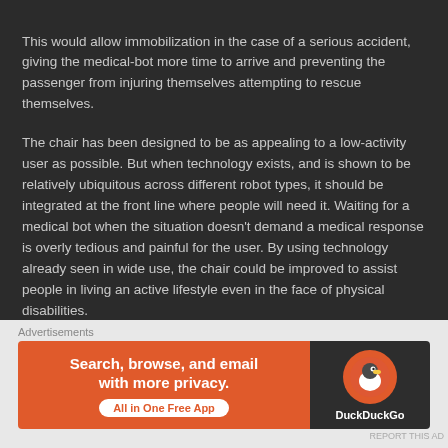This would allow immobilization in the case of a serious accident, giving the medical-bot more time to arrive and preventing the passenger from injuring themselves attempting to rescue themselves.
The chair has been designed to be as appealing to a low-activity user as possible. But when technology exists, and is shown to be relatively ubiquitous across different robot types, it should be integrated at the front line where people will need it. Waiting for a medical bot when the situation doesn't demand a medical response is overly tedious and painful for the user. By using technology already seen in wide use, the chair could be improved to assist people in living an active lifestyle even in the face of physical disabilities.
Advertisements
[Figure (logo): Automattic logo with stylized blue O]
Advertisements
[Figure (infographic): DuckDuckGo advertisement banner: Search, browse, and email with more privacy. All in One Free App. Orange background with DuckDuckGo logo on dark right panel.]